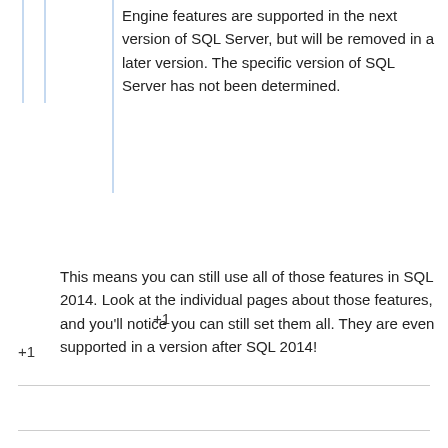Engine features are supported in the next version of SQL Server, but will be removed in a later version. The specific version of SQL Server has not been determined.
This means you can still use all of those features in SQL 2014. Look at the individual pages about those features, and you'll notice you can still set them all. They are even supported in a version after SQL 2014!
+1
+1